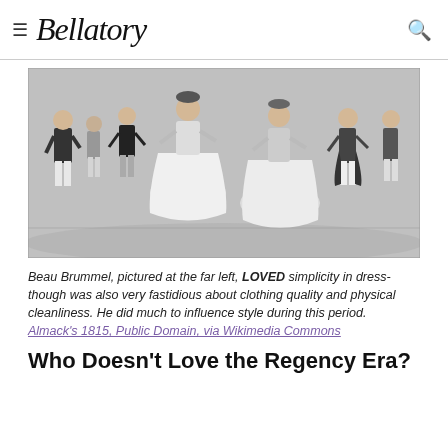Bellatory
[Figure (illustration): Black and white illustration of Regency-era men and women dancing at Almack's 1815. Beau Brummel is pictured at the far left. Multiple couples in period dress are shown dancing.]
Beau Brummel, pictured at the far left, LOVED simplicity in dress- though was also very fastidious about clothing quality and physical cleanliness. He did much to influence style during this period.
Almack's 1815, Public Domain, via Wikimedia Commons
Who Doesn't Love the Regency Era?